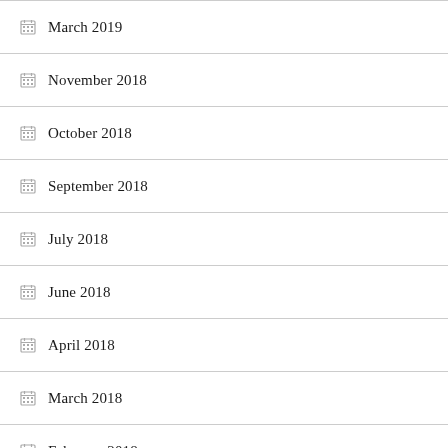March 2019
November 2018
October 2018
September 2018
July 2018
June 2018
April 2018
March 2018
February 2018
January 2018